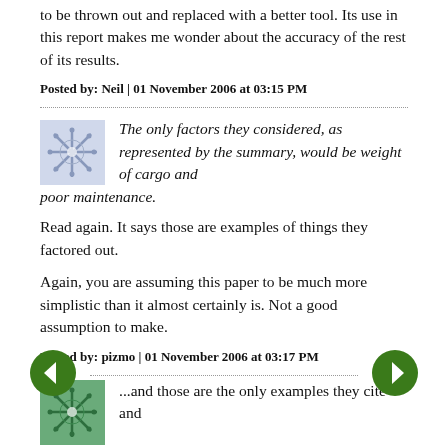to be thrown out and replaced with a better tool. Its use in this report makes me wonder about the accuracy of the rest of its results.
Posted by: Neil | 01 November 2006 at 03:15 PM
The only factors they considered, as represented by the summary, would be weight of cargo and poor maintenance.
Read again. It says those are examples of things they factored out.
Again, you are assuming this paper to be much more simplistic than it almost certainly is. Not a good assumption to make.
Posted by: pizmo | 01 November 2006 at 03:17 PM
...and those are the only examples they cite and